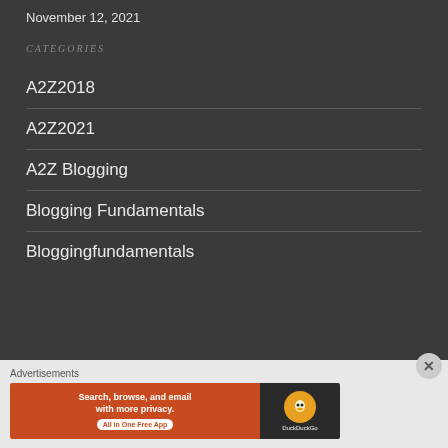November 12, 2021
CATEGORIES
A2Z2018
A2Z2021
A2Z Blogging
Blogging Fundamentals
Bloggingfundamentals
Advertisements
[Figure (other): DuckDuckGo advertisement banner: Search, browse, and email with more privacy. All in One Free App. DuckDuckGo logo on dark background.]